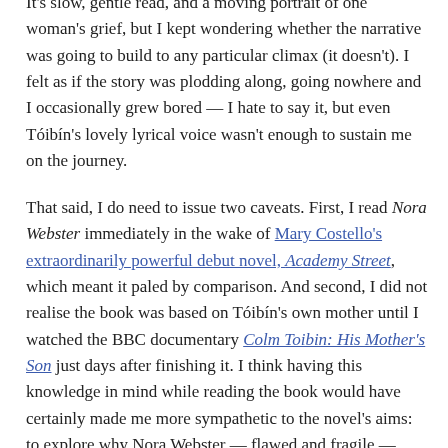It's slow, gentle read, and a moving portrait of one woman's grief, but I kept wondering whether the narrative was going to build to any particular climax (it doesn't). I felt as if the story was plodding along, going nowhere and I occasionally grew bored — I hate to say it, but even Tóibín's lovely lyrical voice wasn't enough to sustain me on the journey.
That said, I do need to issue two caveats. First, I read Nora Webster immediately in the wake of Mary Costello's extraordinarily powerful debut novel, Academy Street, which meant it paled by comparison. And second, I did not realise the book was based on Tóibín's own mother until I watched the BBC documentary Colm Toibin: His Mother's Son just days after finishing it. I think having this knowledge in mind while reading the book would have certainly made me more sympathetic to the novel's aims: to explore why Nora Webster — flawed and fragile — behaved in the ways she did